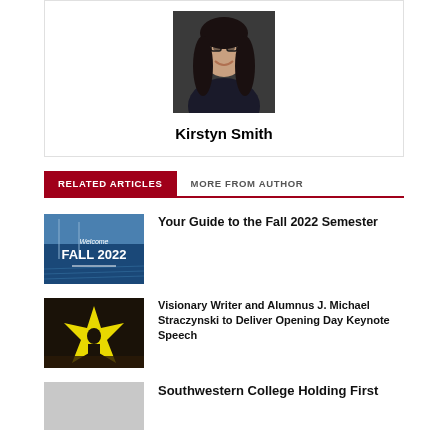[Figure (photo): Headshot photo of Kirstyn Smith, a smiling woman with glasses and long dark hair]
Kirstyn Smith
RELATED ARTICLES | MORE FROM AUTHOR
[Figure (photo): Welcome Fall 2022 banner image with pool/sky background]
Your Guide to the Fall 2022 Semester
[Figure (photo): Speaker on stage with a burst graphic projection, possibly J. Michael Straczynski event]
Visionary Writer and Alumnus J. Michael Straczynski to Deliver Opening Day Keynote Speech
[Figure (photo): Thumbnail image for Southwestern College article]
Southwestern College Holding First